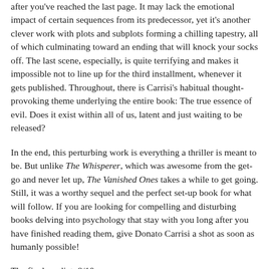after you've reached the last page. It may lack the emotional impact of certain sequences from its predecessor, yet it's another clever work with plots and subplots forming a chilling tapestry, all of which culminating toward an ending that will knock your socks off. The last scene, especially, is quite terrifying and makes it impossible not to line up for the third installment, whenever it gets published. Throughout, there is Carrisi's habitual thought-provoking theme underlying the entire book: The true essence of evil. Does it exist within all of us, latent and just waiting to be released?
In the end, this perturbing work is everything a thriller is meant to be. But unlike The Whisperer, which was awesome from the get-go and never let up, The Vanished Ones takes a while to get going. Still, it was a worthy sequel and the perfect set-up book for what will follow. If you are looking for compelling and disturbing books delving into psychology that stay with you long after you have finished reading them, give Donato Carrisi a shot as soon as humanly possible!
The final verdict: 8/10
For more info about this title: Canada, USA, Europe